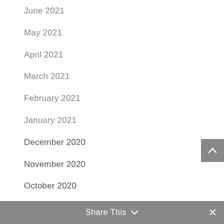June 2021
May 2021
April 2021
March 2021
February 2021
January 2021
December 2020
November 2020
October 2020
September 2020
August 2020
July 2020
Share This ∨ ×